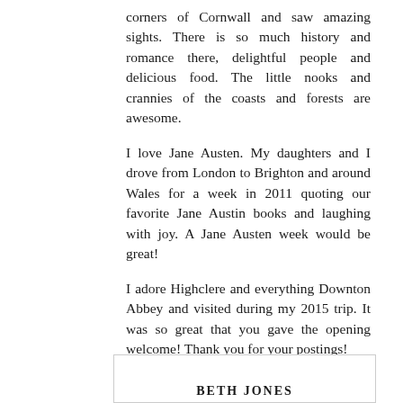corners of Cornwall and saw amazing sights. There is so much history and romance there, delightful people and delicious food. The little nooks and crannies of the coasts and forests are awesome.
I love Jane Austen. My daughters and I drove from London to Brighton and around Wales for a week in 2011 quoting our favorite Jane Austin books and laughing with joy. A Jane Austen week would be great!
I adore Highclere and everything Downton Abbey and visited during my 2015 trip. It was so great that you gave the opening welcome! Thank you for your postings!
Kaye
BETH JONES